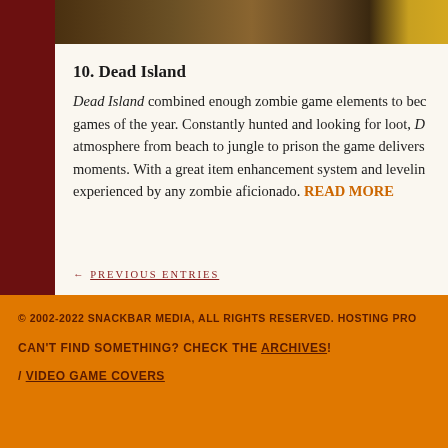[Figure (photo): Partial image strip at top showing game scene textures/scenery in dark earth tones with a golden element on the right]
10. Dead Island
Dead Island combined enough zombie game elements to bec games of the year. Constantly hunted and looking for loot, D atmosphere from beach to jungle to prison the game delivers moments. With a great item enhancement system and levelin experienced by any zombie aficionado. READ MORE
← PREVIOUS ENTRIES
© 2002-2022 SNACKBAR MEDIA, ALL RIGHTS RESERVED. HOSTING PRO CAN'T FIND SOMETHING? CHECK THE ARCHIVES! / VIDEO GAME COVERS